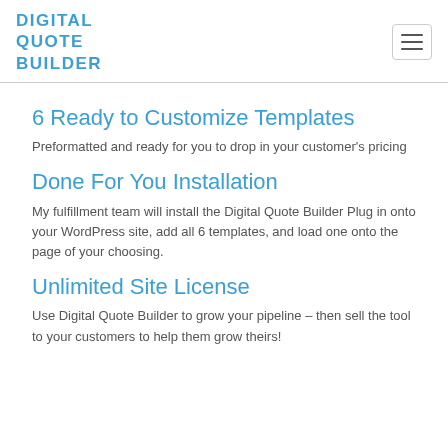DIGITAL QUOTE BUILDER
6 Ready to Customize Templates
Preformatted and ready for you to drop in your customer's pricing
Done For You Installation
My fulfillment team will install the Digital Quote Builder Plug in onto your WordPress site, add all 6 templates, and load one onto the page of your choosing.
Unlimited Site License
Use Digital Quote Builder to grow your pipeline – then sell the tool to your customers to help them grow theirs!